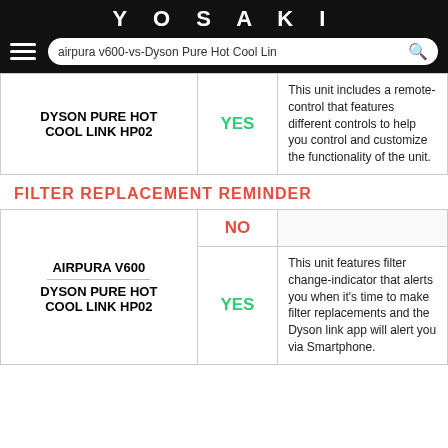YOSAKI
| Product | YES/NO | Description |
| --- | --- | --- |
| DYSON PURE HOT COOL LINK HP02 | YES | This unit includes a remote-control that features different controls to help you control and customize the functionality of the unit. |
FILTER REPLACEMENT REMINDER
| Product | YES/NO | Description |
| --- | --- | --- |
| AIRPURA V600 | NO |  |
| DYSON PURE HOT COOL LINK HP02 | YES | This unit features filter change-indicator that alerts you when it's time to make filter replacements and the Dyson link app will alert you via Smartphone. |